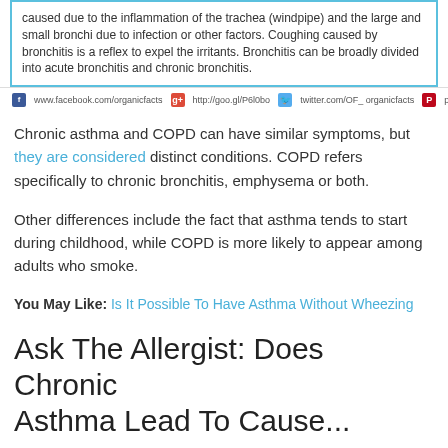caused due to the inflammation of the trachea (windpipe) and the large and small bronchi due to infection or other factors. Coughing caused by bronchitis is a reflex to expel the irritants. Bronchitis can be broadly divided into acute bronchitis and chronic bronchitis.
www.facebook.com/organicfacts  http://goo.gl/P6l0bo  twitter.com/OF_organicfacts  pinterest.com/organicfacts
Chronic asthma and COPD can have similar symptoms, but they are considered distinct conditions. COPD refers specifically to chronic bronchitis, emphysema or both.
Other differences include the fact that asthma tends to start during childhood, while COPD is more likely to appear among adults who smoke.
You May Like: Is It Possible To Have Asthma Without Wheezing
Ask The Allergist: Does Chronic Asthma Lead To Cause...